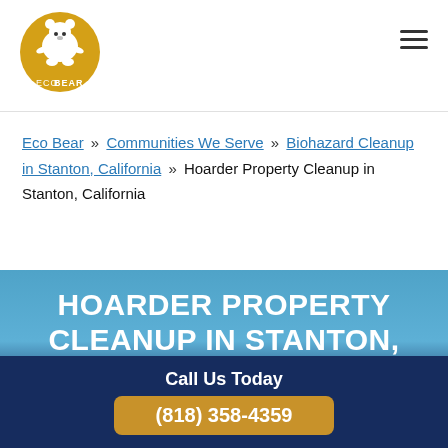[Figure (logo): EcoBear logo with polar bear on gold/yellow background and text ECOBEAR]
≡ (hamburger menu icon)
Eco Bear » Communities We Serve » Biohazard Cleanup in Stanton, California » Hoarder Property Cleanup in Stanton, California
HOARDER PROPERTY CLEANUP IN STANTON, CALIFORNIA
Call Us Today
(818) 358-4359